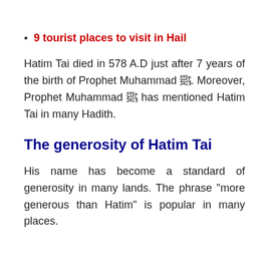9 tourist places to visit in Hail
Hatim Tai died in 578 A.D just after 7 years of the birth of Prophet Muhammad ﷺ. Moreover, Prophet Muhammad ﷺ has mentioned Hatim Tai in many Hadith.
The generosity of Hatim Tai
His name has become a standard of generosity in many lands. The phrase “more generous than Hatim” is popular in many places.